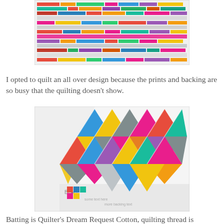[Figure (photo): A colorful patchwork quilt with horizontal strips of multicolored fabric pieces on a white/grey background]
I opted to quilt an all over design because the prints and backing are so busy that the quilting doesn't show.
[Figure (photo): Close-up of a colorful triangle patchwork quilt pattern with pink, blue, yellow, orange, grey and other colors, with a text-printed backing fabric showing 'BLAH' text]
Batting is Quilter's Dream Request Cotton, quilting thread is